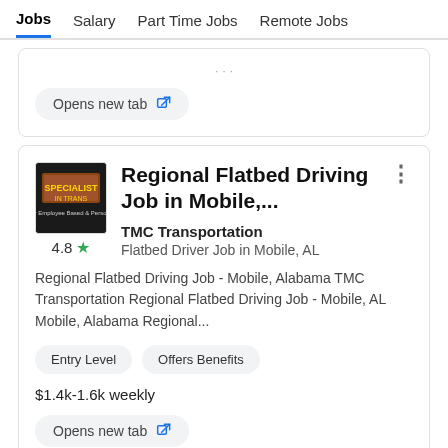Jobs  Salary  Part Time Jobs  Remote Jobs
Opens new tab
Regional Flatbed Driving Job in Mobile,...
TMC Transportation
Flatbed Driver Job in Mobile, AL
Regional Flatbed Driving Job - Mobile, Alabama TMC Transportation Regional Flatbed Driving Job - Mobile, AL Mobile, Alabama Regional...
Entry Level
Offers Benefits
$1.4k-1.6k weekly
Opens new tab